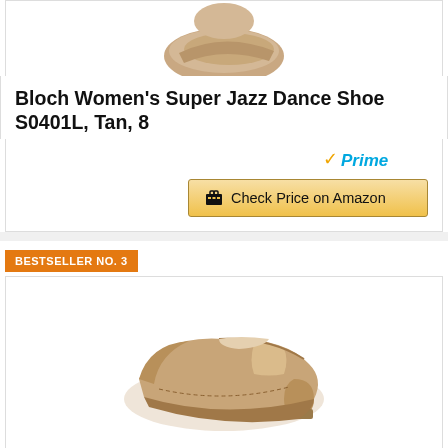[Figure (photo): Partial view of a tan/beige jazz dance shoe, showing the toe and upper portion cropped at the top of the card]
Bloch Women's Super Jazz Dance Shoe S0401L, Tan, 8
[Figure (logo): Amazon Prime badge with orange checkmark and blue italic 'Prime' text]
Check Price on Amazon
BESTSELLER NO. 3
[Figure (photo): Tan/beige leather slip-on jazz shoe with elastic side panel, low heel, shown from a three-quarter angle]
Pegasus Galaxy Brown Jazz Shoes For Women/Big Kid Slip On 6.5M US